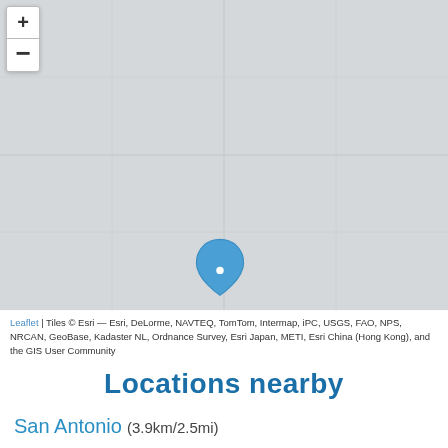[Figure (map): Interactive map (Leaflet/Esri) showing a light grey base map with a blue teardrop location pin marker roughly in the center-left area. Zoom in (+) and zoom out (-) controls are visible in the top-left corner.]
Leaflet | Tiles © Esri — Esri, DeLorme, NAVTEQ, TomTom, Intermap, iPC, USGS, FAO, NPS, NRCAN, GeoBase, Kadaster NL, Ordnance Survey, Esri Japan, METI, Esri China (Hong Kong), and the GIS User Community
Locations nearby
San Antonio (3.9km/2.5mi)